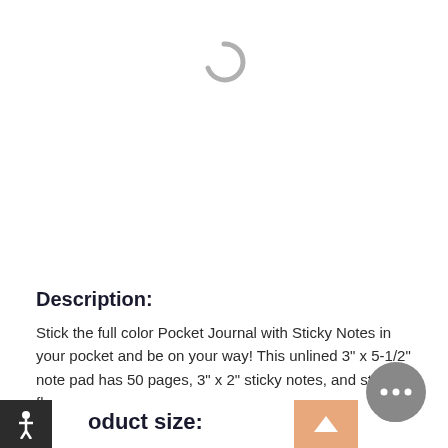[Figure (other): Loading spinner icon (grey arc/spinner) centered near top of page]
Description:
Stick the full color Pocket Journal with Sticky Notes in your pocket and be on your way! This unlined 3" x 5-1/2" note pad has 50 pages, 3" x 2" sticky notes, and sticky flags in 5 neon colors. It's sure to be a hit at your next marketing event!
oduct size: